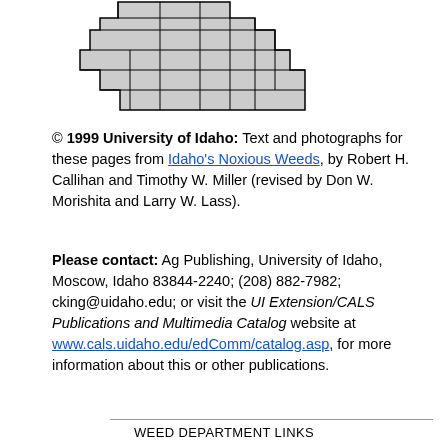[Figure (map): Outline map of Idaho showing county boundaries, with some counties shaded in gray]
© 1999 University of Idaho: Text and photographs for these pages from Idaho's Noxious Weeds, by Robert H. Callihan and Timothy W. Miller (revised by Don W. Morishita and Larry W. Lass).
Please contact: Ag Publishing, University of Idaho, Moscow, Idaho 83844-2240; (208) 882-7982; cking@uidaho.edu; or visit the UI Extension/CALS Publications and Multimedia Catalog website at www.cals.uidaho.edu/edComm/catalog.asp, for more information about this or other publications.
WEED DEPARTMENT LINKS